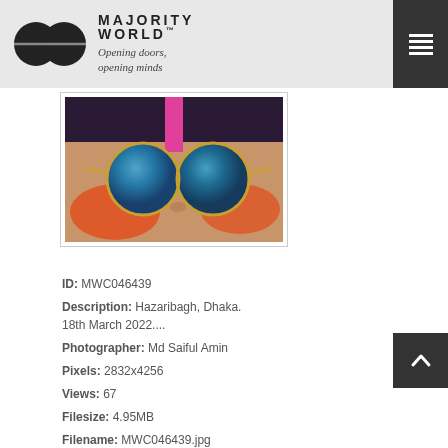MAJORITY WORLD™ Opening doors, opening minds
[Figure (photo): Close-up photo of a child wearing large round mirrored sunglasses with colorful face paint — pink, red/orange — likely at Holi festival, Hazaribagh, Dhaka]
ID: MWC046439
Description: Hazaribagh, Dhaka. 18th March 2022....
Photographer: Md Saiful Amin
Pixels: 2832x4256
Views: 67
Filesize: 4.95MB
Filename: MWC046439.jpg
Owner: Md Saiful Amin
Added: Mar 19, 2022